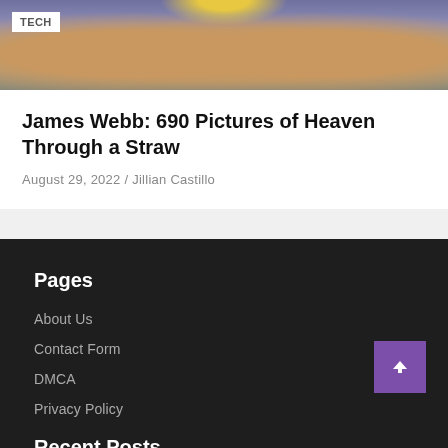[Figure (photo): James Webb Space Telescope hardware photograph viewed from below, showing gold-colored mirror segments and mechanical components against a purple/gray background. A TECH badge overlay appears in the top-left corner.]
James Webb: 690 Pictures of Heaven Through a Straw
August 29, 2022 / Jillian Castillo
Pages
About Us
Contact Form
DMCA
Privacy Policy
Recent Posts